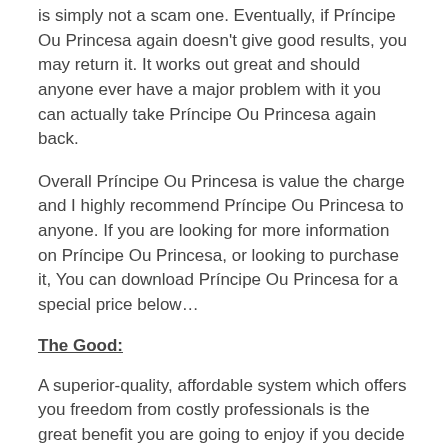is simply not a scam one. Eventually, if Príncipe Ou Princesa again doesn't give good results, you may return it. It works out great and should anyone ever have a major problem with it you can actually take Príncipe Ou Princesa again back.
Overall Príncipe Ou Princesa is value the charge and I highly recommend Príncipe Ou Princesa to anyone. If you are looking for more information on Príncipe Ou Princesa, or looking to purchase it, You can download Príncipe Ou Princesa for a special price below…
The Good:
A superior-quality, affordable system which offers you freedom from costly professionals is the great benefit you are going to enjoy if you decide to go for Príncipe Ou Princesa. Accessing Príncipe Ou Princesa also means